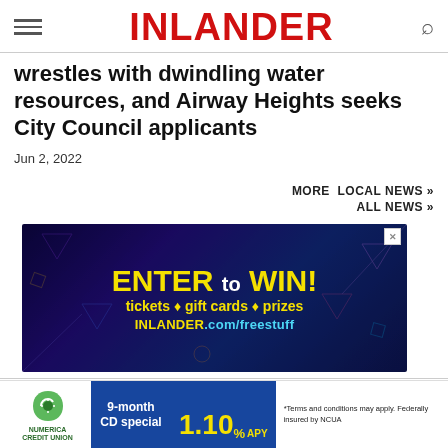INLANDER
wrestles with dwindling water resources, and Airway Heights seeks City Council applicants
Jun 2, 2022
MORE LOCAL NEWS »
ALL NEWS »
[Figure (infographic): Advertisement banner: ENTER to WIN! tickets + gift cards + prizes INLANDER.com/freestuff]
THINGS TO DO
[Figure (infographic): Numerica Credit Union advertisement: 9-month CD special 1.10% APY. Terms and conditions may apply. Federally insured by NCUA.]